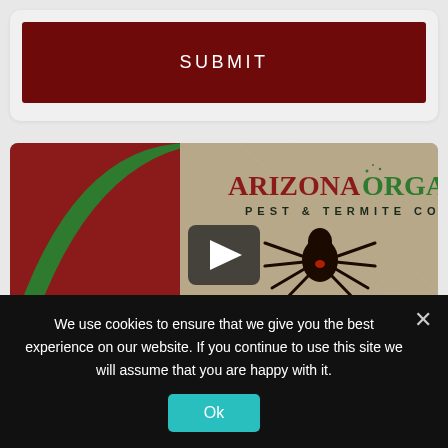[Figure (screenshot): A dark red SUBMIT button rendered as a wide rectangular button with white text 'SUBMIT' in spaced capital letters on a light gray background card.]
[Figure (screenshot): A video thumbnail for Arizona Organic Pest & Termite Control showing a spider (black widow) on a tan/brown background, with a play button overlay and 'SPIDER' text at the bottom left. The logo shows 'ARIZONA ORGANIC' in red and green serif text with 'PEST & TERMITE CONTROL' below.]
We use cookies to ensure that we give you the best experience on our website. If you continue to use this site we will assume that you are happy with it.
Ok